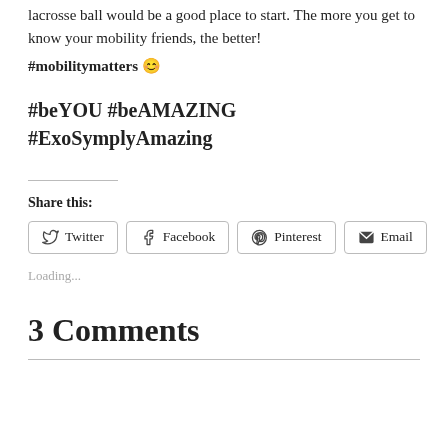lacrosse ball would be a good place to start. The more you get to know your mobility friends, the better!
#mobilitymatters 😊
#beYOU #beAMAZING #ExoSymplyAmazing
Share this:
Twitter | Facebook | Pinterest | Email
Loading...
3 Comments